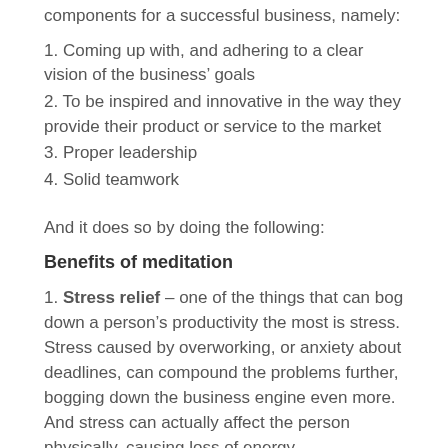components for a successful business, namely:
1. Coming up with, and adhering to a clear vision of the business' goals
2. To be inspired and innovative in the way they provide their product or service to the market
3. Proper leadership
4. Solid teamwork
And it does so by doing the following:
Benefits of meditation
1. Stress relief – one of the things that can bog down a person's productivity the most is stress. Stress caused by overworking, or anxiety about deadlines, can compound the problems further, bogging down the business engine even more. And stress can actually affect the person physically, causing loss of energy,